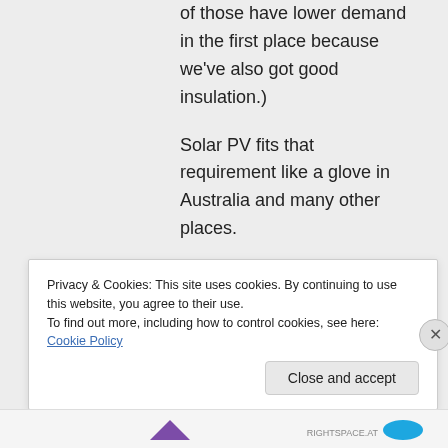of those have lower demand in the first place because we've also got good insulation.)
Solar PV fits that requirement like a glove in Australia and many other places.
Privacy & Cookies: This site uses cookies. By continuing to use this website, you agree to their use.
To find out more, including how to control cookies, see here: Cookie Policy